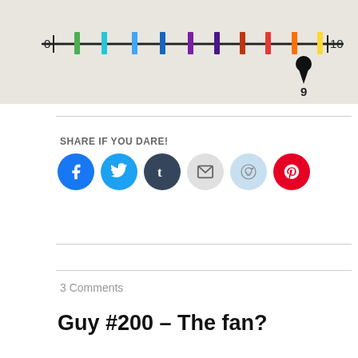[Figure (infographic): A number scale from 0 to 10 with colored tick marks in green, teal, blue, dark blue, purple, dark purple, red-brown, red, orange, and yellow. A teardrop-shaped pointer indicates the value 9 on the scale.]
SHARE IF YOU DARE!
[Figure (infographic): Row of six social media icon circles: Facebook (blue), Twitter (light blue), Tumblr (dark navy), Email (light grey with envelope icon), Reddit (light blue with alien icon), Pinterest (red).]
3 Comments
Guy #200 – The fan?